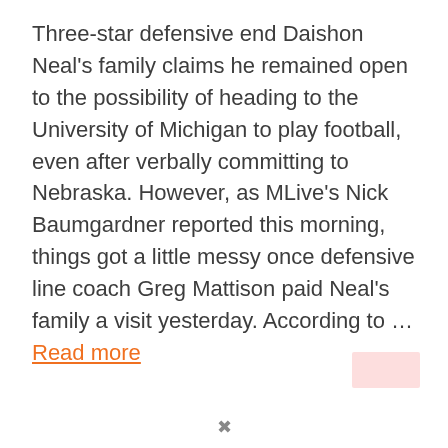Three-star defensive end Daishon Neal's family claims he remained open to the possibility of heading to the University of Michigan to play football, even after verbally committing to Nebraska. However, as MLive's Nick Baumgardner reported this morning, things got a little messy once defensive line coach Greg Mattison paid Neal's family a visit yesterday. According to … Read more
U of M
Daishon Neal, Greg Mattison, University of Michigan, University of Nebraska